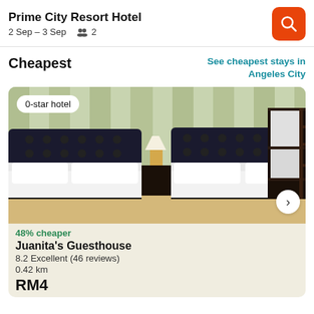Prime City Resort Hotel | 2 Sep – 3 Sep | 2 guests
Cheapest
See cheapest stays in Angeles City
[Figure (photo): Hotel room photo showing two beds with dark tufted headboards, white bedding, a bedside lamp, green curtains in the background, and a bunk bed on the right side. Badge reads '0-star hotel'.]
48% cheaper
Juanita's Guesthouse
8.2 Excellent (46 reviews)
0.42 km
RM4